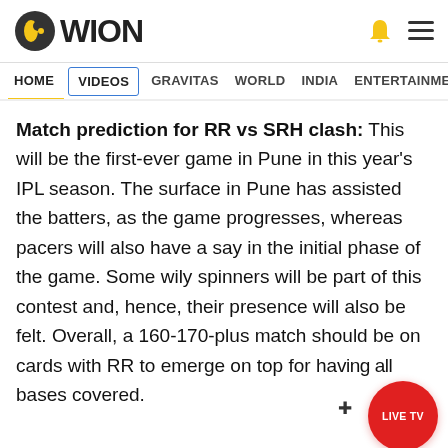WION
HOME | VIDEOS | GRAVITAS | WORLD | INDIA | ENTERTAINMENT | SPORTS
Match prediction for RR vs SRH clash: This will be the first-ever game in Pune in this year's IPL season. The surface in Pune has assisted the batters, as the game progresses, whereas pacers will also have a say in the initial phase of the game. Some wily spinners will be part of this contest and, hence, their presence will also be felt. Overall, a 160-170-plus match should be on cards with RR to emerge on top for having all bases covered.
RELATED